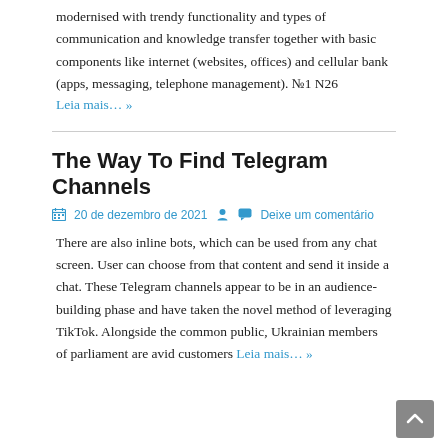modernised with trendy functionality and types of communication and knowledge transfer together with basic components like internet (websites, offices) and cellular bank (apps, messaging, telephone management). №1 N26
Leia mais… »
The Way To Find Telegram Channels
20 de dezembro de 2021   Deixe um comentário
There are also inline bots, which can be used from any chat screen. User can choose from that content and send it inside a chat. These Telegram channels appear to be in an audience-building phase and have taken the novel method of leveraging TikTok. Alongside the common public, Ukrainian members of parliament are avid customers Leia mais… »